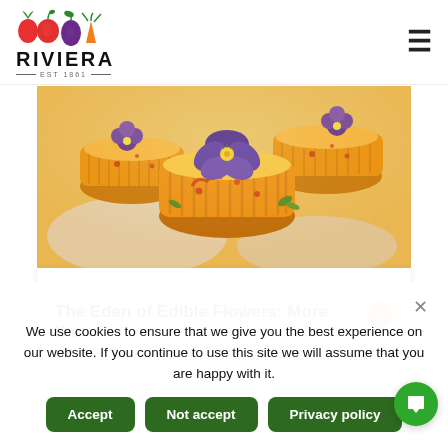[Figure (logo): Riviera produce company logo with colorful fruit icons (apple, tomato, eggplant, carrot) and text RIVIERA EST 1861]
[Figure (photo): Close-up photo of golden flan/custard desserts topped with vibrant purple edible flowers (pansies) arranged on white paper]
MAY 15, 2021
The Eden of Edible Flowers: More than
We use cookies to ensure that we give you the best experience on our website. If you continue to use this site we will assume that you are happy with it.
Accept
Not accept
Privacy policy